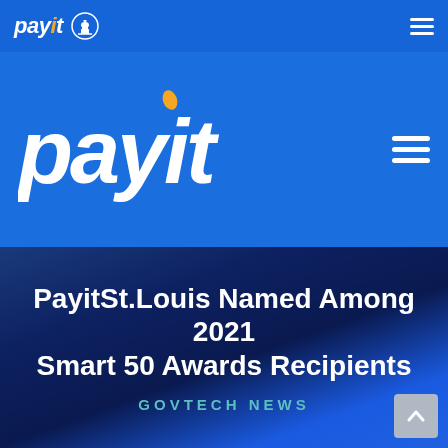payit [capitol icon] ≡
[Figure (logo): payit logo in large white italic bold text with orange leaf accent, on blue background, with hamburger menu icon on right]
PayitSt.Louis Named Among 2021 Smart 50 Awards Recipients
GOVTECH NEWS